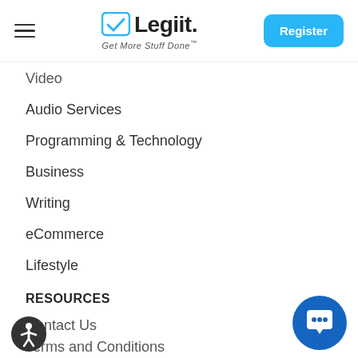Legiit - Get More Stuff Done — Register
Video
Audio Services
Programming & Technology
Business
Writing
eCommerce
Lifestyle
RESOURCES
Contact Us
Terms and Conditions